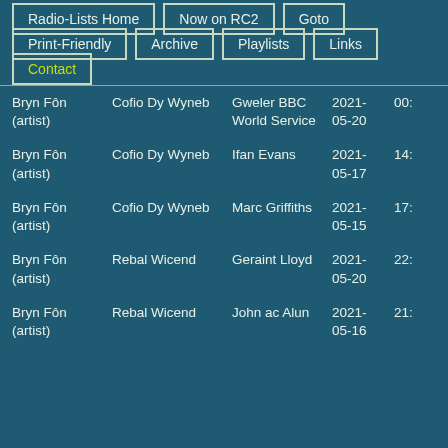Radio-Lists Home
Now on RC2
Goto
Print-Friendly
Archive
Playlists
Links
Contact
| Artist | Track | Show | Date | Time |
| --- | --- | --- | --- | --- |
| Bryn Fôn (artist) | Cofio Dy Wyneb | Gweler BBC World Service | 2021-05-20 | 00: |
| Bryn Fôn (artist) | Cofio Dy Wyneb | Ifan Evans | 2021-05-17 | 14: |
| Bryn Fôn (artist) | Cofio Dy Wyneb | Marc Griffiths | 2021-05-15 | 17: |
| Bryn Fôn (artist) | Rebal Wicend | Geraint Lloyd | 2021-05-20 | 22: |
| Bryn Fôn (artist) | Rebal Wicend | John ac Alun | 2021-05-16 | 21: |